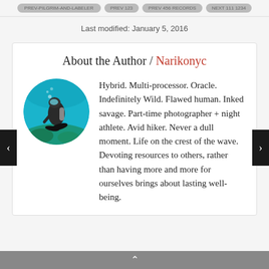Last modified: January 5, 2016
About the Author / Narikonyc
[Figure (photo): Circular avatar photo of a scuba diver underwater with coral reef in background]
Hybrid. Multi-processor. Oracle. Indefinitely Wild. Flawed human. Inked savage. Part-time photographer + night athlete. Avid hiker. Never a dull moment. Life on the crest of the wave. Devoting resources to others, rather than having more and more for ourselves brings about lasting well-being.